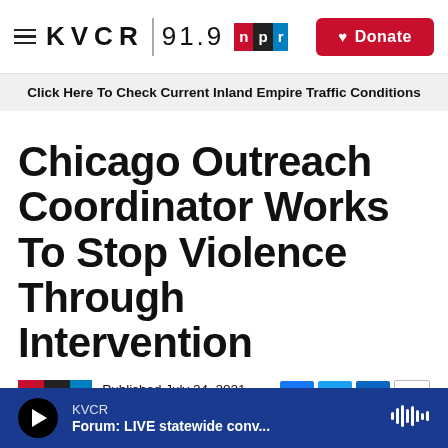KVCR 91.9 NPR | Donate
Click Here To Check Current Inland Empire Traffic Conditions
Chicago Outreach Coordinator Works To Stop Violence Through Intervention
Published July 24, 2021 at 3:06 PM PDT
KVCR | Forum: LIVE statewide conv...